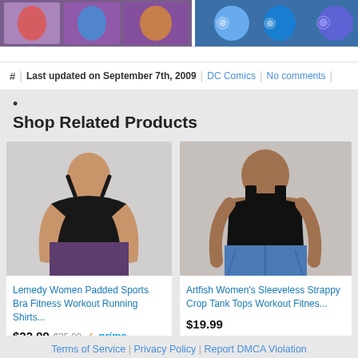[Figure (photo): Top banner with comic/illustration images on left and right sections]
# | Last updated on September 7th, 2009 | DC Comics | No comments |
•
Shop Related Products
[Figure (photo): Lemedy Women Padded Sports Bra Fitness Workout Running Shirts product photo - woman in black sports bra]
Lemedy Women Padded Sports Bra Fitness Workout Running Shirts...
$22.99  $25.99  ✓prime
★★★★½ (51060)
[Figure (photo): Artfish Women's Sleeveless Strappy Crop Tank Tops Workout product photo - woman in black tank top]
Artfish Women's Sleeveless Strappy Crop Tank Tops Workout Fitnes...
$19.99
★★★★☆ (2156)
Terms of Service | Privacy Policy | Report DMCA Violation